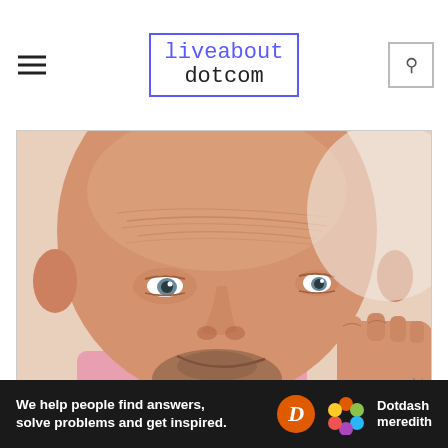liveabout dotcom
[Figure (photo): Close-up portrait of a bald middle-aged man with blue eyes, stubble beard, smiling, resting his face on his fist. He is wearing a pink shirt. Light background.]
We help people find answers, solve problems and get inspired.